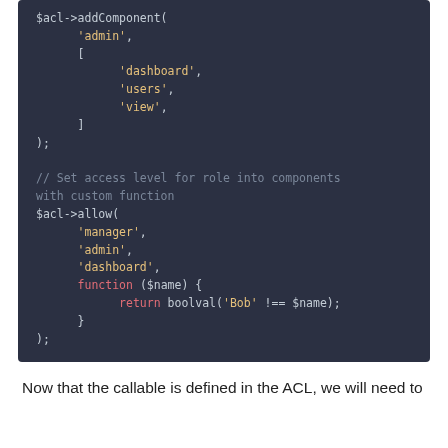[Figure (screenshot): Code block showing PHP ACL addComponent and allow calls with syntax highlighting on dark background]
Now that the callable is defined in the ACL, we will need to